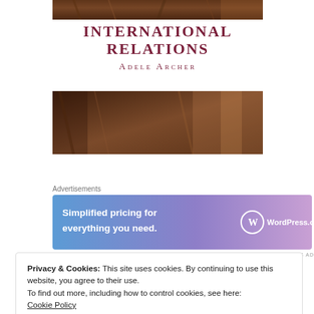[Figure (photo): Top portion of book cover showing a dark wood/door texture image, cropped at top]
INTERNATIONAL RELATIONS
Adele Archer
[Figure (photo): Bottom portion of book cover showing a dark wood/door texture image]
Advertisements
[Figure (screenshot): WordPress.com advertisement banner with gradient blue-to-purple background. Text: 'Simplified pricing for everything you need.' with WordPress.com logo on right]
REPORT THIS AD
Privacy & Cookies: This site uses cookies. By continuing to use this website, you agree to their use.
To find out more, including how to control cookies, see here:
Cookie Policy
Close and accept